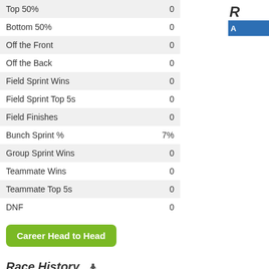| Stat | Value |
| --- | --- |
| Top 50% | 0 |
| Bottom 50% | 0 |
| Off the Front | 0 |
| Off the Back | 0 |
| Field Sprint Wins | 0 |
| Field Sprint Top 5s | 0 |
| Field Finishes | 0 |
| Bunch Sprint % | 7% |
| Group Sprint Wins | 0 |
| Teammate Wins | 0 |
| Teammate Top 5s | 0 |
| DNF | 0 |
Career Head to Head
Race History
2008 - 4 races